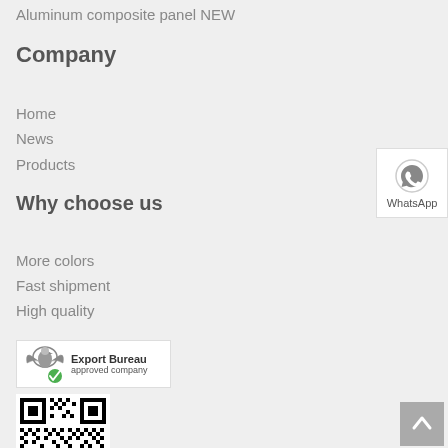Aluminum composite panel NEW
Company
Home
News
Products
Why choose us
More colors
Fast shipment
High quality
[Figure (logo): Export Bureau approved company badge with eagle logo and green checkmark]
[Figure (other): QR code]
[Figure (other): WhatsApp button with WhatsApp icon]
[Figure (other): Back to top button with upward arrow]